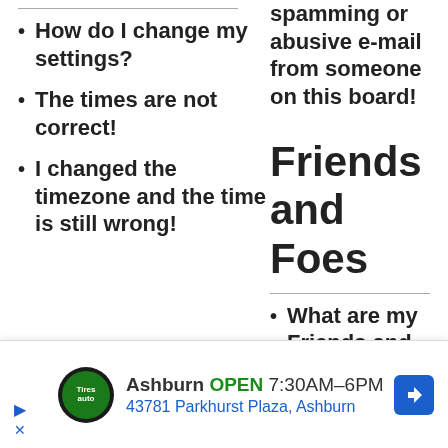spamming or abusive e-mail from someone on this board!
How do I change my settings?
The times are not correct!
Friends and Foes
I changed the timezone and the time is still wrong!
What are my Friends and Foes lists?
How can I
Ashburn OPEN 7:30AM–6PM 43781 Parkhurst Plaza, Ashburn